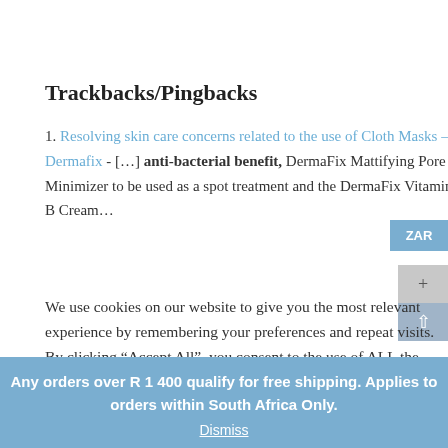Trackbacks/Pingbacks
1. Resolving skin care concerns related to the use of Cloth Masks – Dermafix - […] anti-bacterial benefit, DermaFix Mattifying Pore Minimizer to be used as a spot treatment and the DermaFix Vitamin B Cream…
We use cookies on our website to give you the most relevant experience by remembering your preferences and repeat visits. By clicking “Accept All”, you consent to the use of ALL the cookies. However, you may visit "Cookie Settings" to provide a controlled consent.
Any orders over R 1 400 qualify for free shipping. Applies to orders within South Africa Only.
Dismiss